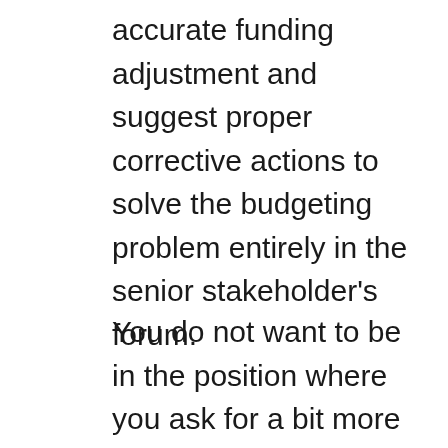accurate funding adjustment and suggest proper corrective actions to solve the budgeting problem entirely in the senior stakeholder's forum.
You do not want to be in the position where you ask for a bit more next month. The approach